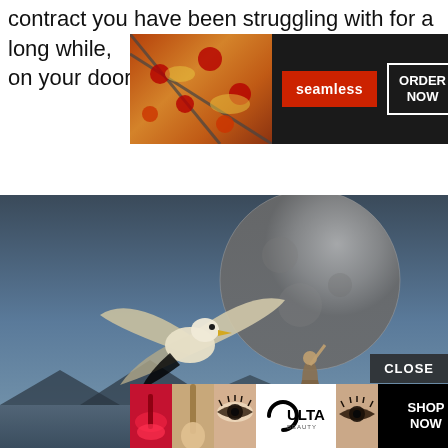contract you have been struggling with for a long while, [ad] cking on your door.
[Figure (photo): Banner advertisement for Seamless food delivery showing pizza slices on dark background with 'seamless' red button and 'ORDER NOW' button]
[Figure (photo): Artistic photo of a seagull in flight with large moon in background, woman figure below, moody blue-gray atmosphere. Black video loading overlay with spinner circle in lower right. CLOSE button in lower right corner.]
[Figure (photo): Ulta Beauty advertisement strip at bottom showing lipstick, makeup brush, eye makeup photos, Ulta logo, and SHOP NOW button]